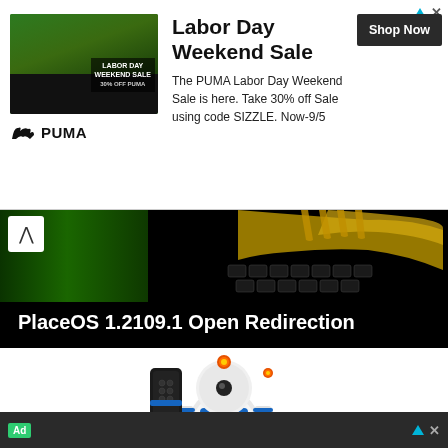[Figure (screenshot): PUMA Labor Day Weekend Sale advertisement banner with a photo of a person wearing PUMA apparel, PUMA logo, and a Shop Now button]
Labor Day Weekend Sale
The PUMA Labor Day Weekend Sale is here. Take 30% off Sale using code SIZZLE. Now-9/5
[Figure (screenshot): Article hero image showing hands on a green-lit keyboard with black background. Title reads: PlaceOS 1.2109.1 Open Redirection, dated September 30, 2021]
PlaceOS 1.2109.1 Open Redirection
September 30, 2021
[Figure (illustration): Bottom advertisement showing a white and blue robot character holding a dark device with hexagonal pattern, glowing red/orange light on head]